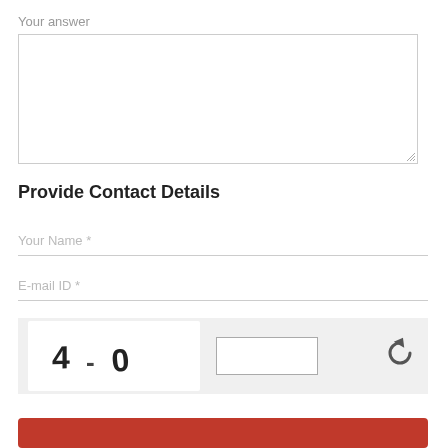Your answer
[Figure (other): Empty text area input box with resize handle at bottom-right]
Provide Contact Details
Your Name *
E-mail ID *
[Figure (other): CAPTCHA widget showing '4 - 0' with an input box and a refresh/reload button]
[Figure (other): Red submit button at the bottom of the form]